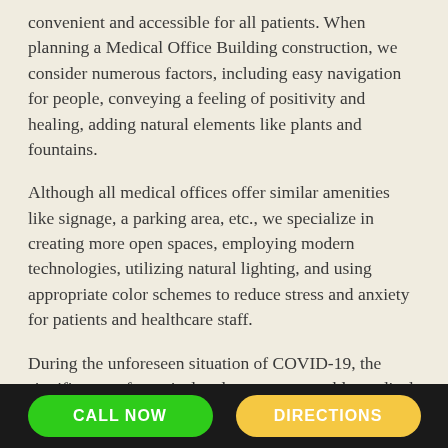convenient and accessible for all patients. When planning a Medical Office Building construction, we consider numerous factors, including easy navigation for people, conveying a feeling of positivity and healing, adding natural elements like plants and fountains.
Although all medical offices offer similar amenities like signage, a parking area, etc., we specialize in creating more open spaces, employing modern technologies, utilizing natural lighting, and using appropriate color schemes to reduce stress and anxiety for patients and healthcare staff.
During the unforeseen situation of COVID-19, the significance of practical and more manageable medical offices has increased multiple times. Our engineers and designers have devised new innovative and modular medical office designs to effectively cater to emergencies
CALL NOW | DIRECTIONS